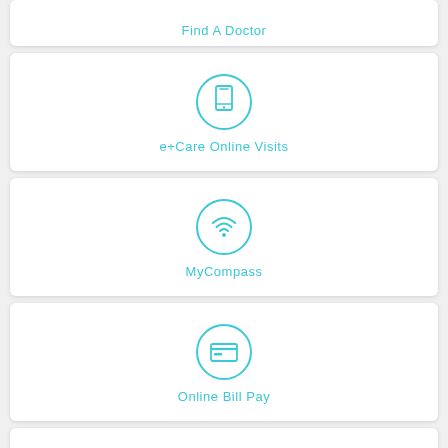[Figure (infographic): Find A Doctor card with teal circle icon (partial top visible) and teal label text]
[Figure (infographic): e+Care Online Visits card with teal circle smartphone icon and teal label text]
[Figure (infographic): MyCompass card with teal circle wifi/compass icon and teal label text]
[Figure (infographic): Online Bill Pay card with teal circle credit card icon and teal label text]
[Figure (infographic): Related Services card (partial bottom, label only visible)]